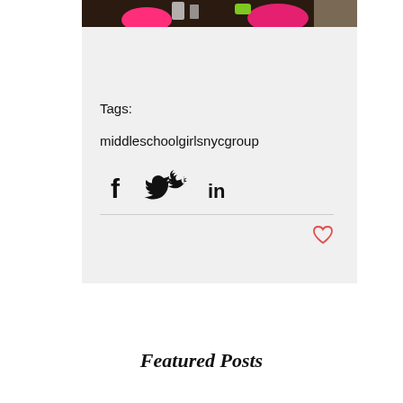[Figure (photo): Top portion of a blog post image showing items on a dark surface including pink bowls and other accessories]
Tags:
middleschoolgirlsnycgroup
[Figure (infographic): Social share icons: Facebook (f), Twitter (bird), LinkedIn (in)]
[Figure (infographic): Heart/like icon in red outline]
Featured Posts